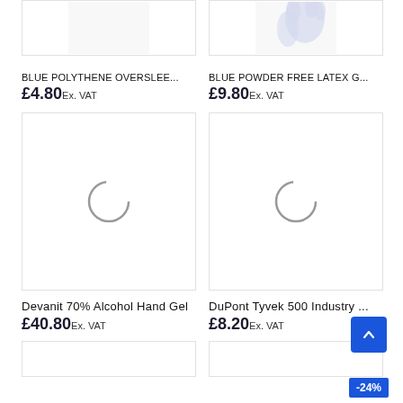[Figure (photo): Partial product image of Blue Polythene Oversleeve, top portion cut off]
[Figure (photo): Partial product image of Blue Powder Free Latex Glove, top portion visible with light blue glove shape]
BLUE POLYTHENE OVERSLEE...
£4.80Ex. VAT
BLUE POWDER FREE LATEX G...
£9.80Ex. VAT
[Figure (photo): Loading spinner circle for Devanit 70% Alcohol Hand Gel product image]
[Figure (photo): Loading spinner circle for DuPont Tyvek 500 Industry product image]
Devanit 70% Alcohol Hand Gel
£40.80Ex. VAT
DuPont Tyvek 500 Industry ...
£8.20Ex. VAT
[Figure (photo): Bottom row partial product cards, right card shows -24% discount badge]